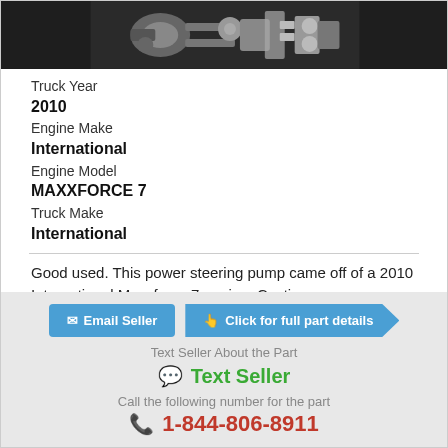[Figure (photo): Photo of a power steering pump, metallic auto part on dark background]
Truck Year
2010
Engine Make
International
Engine Model
MAXXFORCE 7
Truck Make
International
Good used. This power steering pump came off of a 2010 International Maxxforce 7 engine. Casting...
Email Seller
Click for full part details
Text Seller About the Part
Text Seller
Call the following number for the part
1-844-806-8911